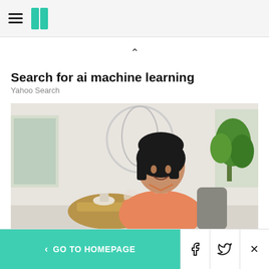HuffPost navigation header
Search for ai machine learning
Yahoo Search
[Figure (photo): A woman with a dark bob haircut wearing a salmon/coral colored blouse, smiling, seated in a bright modern living room setting with plants and a wooden table in the background.]
Living Well With Type 2
< GO TO HOMEPAGE  [Facebook]  [Twitter]  [X]